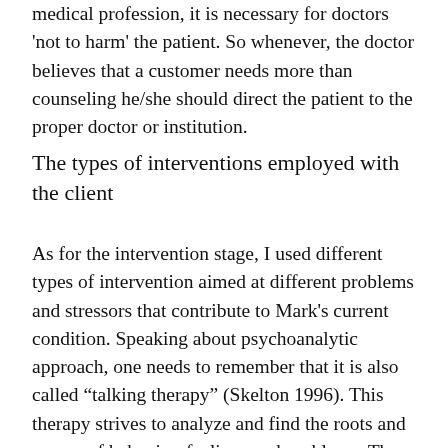medical profession, it is necessary for doctors 'not to harm' the patient. So whenever, the doctor believes that a customer needs more than counseling he/she should direct the patient to the proper doctor or institution.
The types of interventions employed with the client
As for the intervention stage, I used different types of intervention aimed at different problems and stressors that contribute to Mark's current condition. Speaking about psychoanalytic approach, one needs to remember that it is also called "talking therapy" (Skelton 1996). This therapy strives to analyze and find the roots and causes of behavior, feelings and problems. The person starts to express his/her unconscious mind and the relationship of that part of the mind to the conscious mind. This therapy is derived from the Freudian model that makes extensive